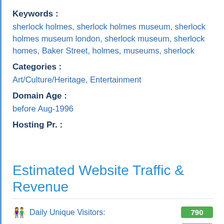Keywords :
sherlock holmes, sherlock holmes museum, sherlock holmes museum london, sherlock museum, sherlock homes, Baker Street, holmes, museums, sherlock
Categories :
Art/Culture/Heritage, Entertainment
Domain Age :
before Aug-1996
Hosting Pr. :
Estimated Website Traffic & Revenue
Daily Unique Visitors: 790
Daily Pageviews: 790